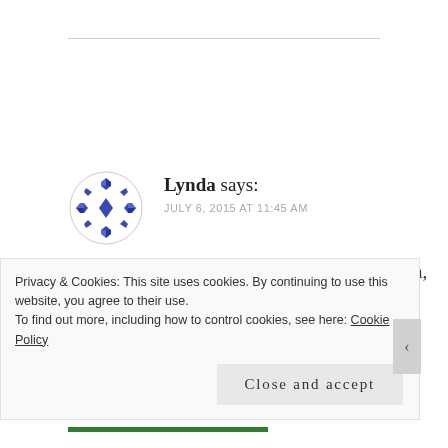Lynda says: JULY 6, 2015 AT 11:45 AM
I agree, you should definitely be wearing them, I've been wearing mine every day since I started making my own matching sets, it feels so luxurious, I've never had
Privacy & Cookies: This site uses cookies. By continuing to use this website, you agree to their use. To find out more, including how to control cookies, see here: Cookie Policy
Close and accept